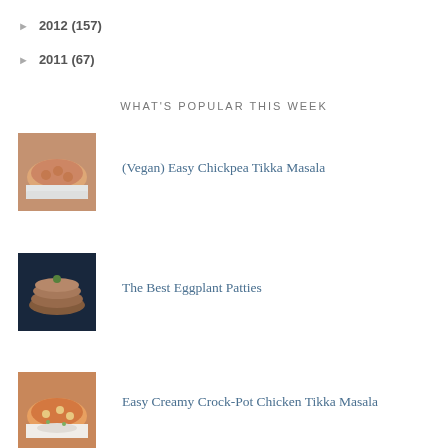► 2012 (157)
► 2011 (67)
WHAT'S POPULAR THIS WEEK
[Figure (photo): Bowl of chickpea tikka masala with rice]
(Vegan) Easy Chickpea Tikka Masala
[Figure (photo): Stack of eggplant patties with dipping sauce]
The Best Eggplant Patties
[Figure (photo): Bowl of creamy crock-pot chicken tikka masala with rice]
Easy Creamy Crock-Pot Chicken Tikka Masala